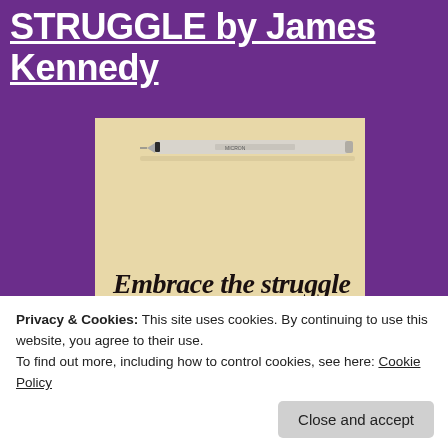STRUGGLE by James Kennedy
[Figure (photo): A photo showing a fine-tip pen (Micron brand) resting on cream/beige paper with the handwritten cursive text 'Embrace the struggle' written below it.]
Privacy & Cookies: This site uses cookies. By continuing to use this website, you agree to their use.
To find out more, including how to control cookies, see here: Cookie Policy
Close and accept